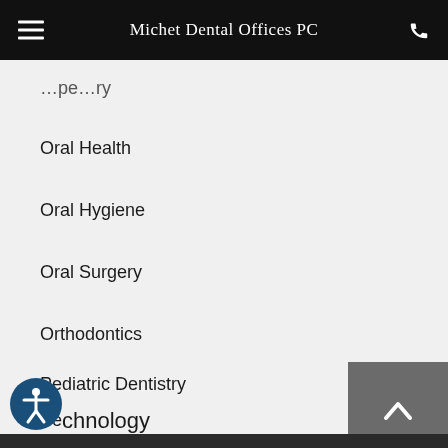Michet Dental Offices PC
…pe…ry (truncated top item)
Oral Health
Oral Hygiene
Oral Surgery
Orthodontics
Pediatric Dentistry
Periodontal Therapy
…chnology (truncated)